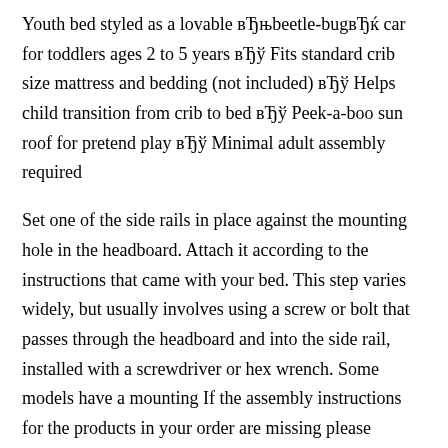Youth bed styled as a lovable вЂњbeetle-bugвЂќ car for toddlers ages 2 to 5 years вЂў Fits standard crib size mattress and bedding (not included) вЂў Helps child transition from crib to bed вЂў Peek-a-boo sun roof for pretend play вЂў Minimal adult assembly required
Set one of the side rails in place against the mounting hole in the headboard. Attach it according to the instructions that came with your bed. This step varies widely, but usually involves using a screw or bolt that passes through the headboard and into the side rail, installed with a screwdriver or hex wrench. Some models have a mounting If the assembly instructions for the products in your order are missing please contact the store that you purchased the products from and we will ensure these are sent to you as quickly as possible. We can send either send the instructions by post or send a scanned image of вЂ¦